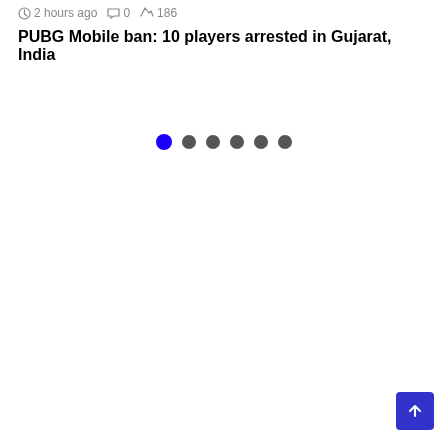2 hours ago  0  186
PUBG Mobile ban: 10 players arrested in Gujarat, India
[Figure (other): Carousel pagination dots — one blue (active) dot followed by five dark grey dots, indicating a slideshow with 6 slides where the first is active.]